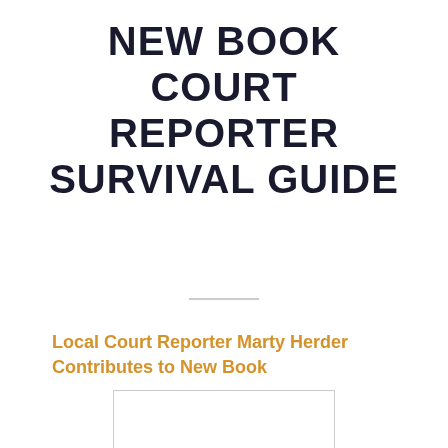NEW BOOK COURT REPORTER SURVIVAL GUIDE
Local Court Reporter Marty Herder Contributes to New Book
[Figure (photo): Book cover image placeholder with light border]